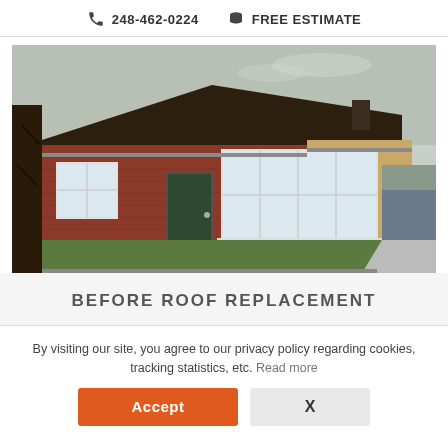248-462-0224  FREE ESTIMATE
[Figure (photo): Exterior photo of a brick ranch-style house before roof replacement. Brown shingled roof, white trim windows, green front door, lawn, tree in foreground, garage visible on right.]
BEFORE ROOF REPLACEMENT
By visiting our site, you agree to our privacy policy regarding cookies, tracking statistics, etc. Read more
Accept  X